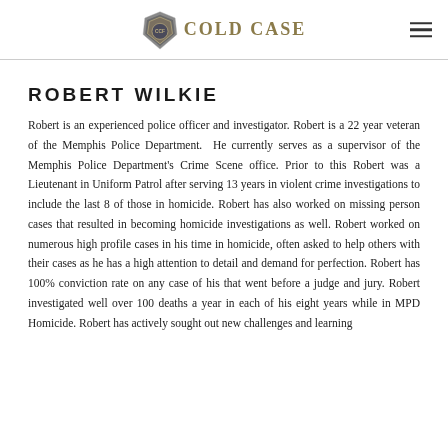COLD CASE
ROBERT WILKIE
Robert is an experienced police officer and investigator. Robert is a 22 year veteran of the Memphis Police Department.  He currently serves as a supervisor of the Memphis Police Department's Crime Scene office. Prior to this Robert was a Lieutenant in Uniform Patrol after serving 13 years in violent crime investigations to include the last 8 of those in homicide. Robert has also worked on missing person cases that resulted in becoming homicide investigations as well. Robert worked on numerous high profile cases in his time in homicide, often asked to help others with their cases as he has a high attention to detail and demand for perfection. Robert has 100% conviction rate on any case of his that went before a judge and jury. Robert investigated well over 100 deaths a year in each of his eight years while in MPD Homicide. Robert has actively sought out new challenges and learning